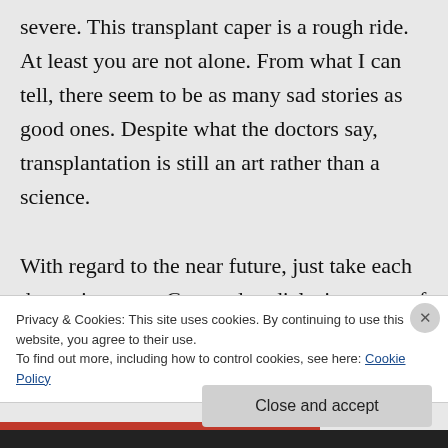severe. This transplant caper is a rough ride. At least you are not alone. From what I can tell, there seem to be as many sad stories as good ones. Despite what the doctors say, transplantation is still an art rather than a science.

With regard to the near future, just take each day as it comes. Get used to dialysis as part of your life, at least for the present. The permacath is a bit of a nuisance, but at
Privacy & Cookies: This site uses cookies. By continuing to use this website, you agree to their use.
To find out more, including how to control cookies, see here: Cookie Policy
Close and accept